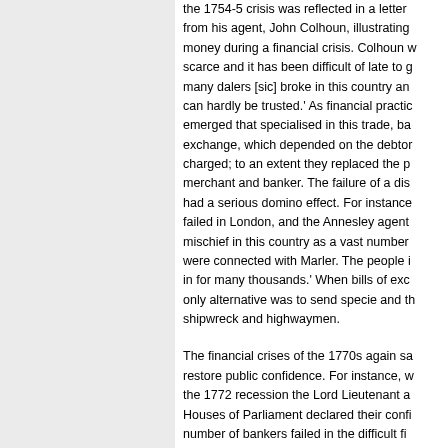the 1754-5 crisis was reflected in a letter from his agent, John Colhoun, illustrating money during a financial crisis. Colhoun w scarce and it has been difficult of late to g many dalers [sic] broke in this country an can hardly be trusted.' As financial practic emerged that specialised in this trade, ba exchange, which depended on the debtor charged; to an extent they replaced the p merchant and banker. The failure of a dis had a serious domino effect. For instance failed in London, and the Annesley agent mischief in this country as a vast number were connected with Marler. The people in for many thousands.' When bills of exc only alternative was to send specie and t shipwreck and highwaymen.
The financial crises of the 1770s again sa restore public confidence. For instance, w the 1772 recession the Lord Lieutenant a Houses of Parliament declared their confi number of bankers failed in the difficult fi